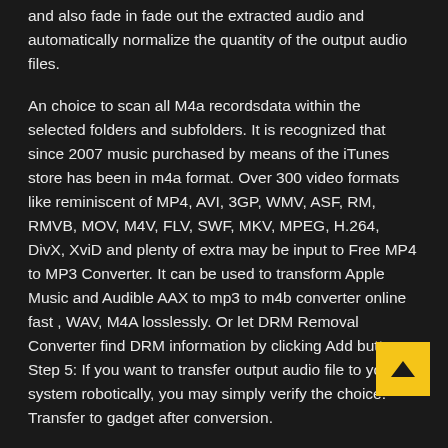and also fade in fade out the extracted audio and automatically normalize the quantity of the output audio files.
An choice to scan all M4a recordsdata within the selected folders and subfolders. It is recognized that since 2007 music purchased by means of the iTunes store has been in m4a format. Over 300 video formats like reminiscent of MP4, AVI, 3GP, WMV, ASF, RM, RMVB, MOV, M4V, FLV, SWF, MKV, MPEG, H.264, DivX, XviD and plenty of extra may be input to Free MP4 to MP3 Converter. It can be used to transform Apple Music and Audible AAX to mp3 to m4b converter online fast , WAV, M4A losslessly. Or let DRM Removal Converter find DRM information by clicking Add button. Step 5: If you want to transfer output audio file to your system robotically, you may simply verify the choice: Transfer to gadget after conversion.
From there, a window will pop up that may let you choose M4A information from your laptop and open with the program. The free Wondershare Video Converter is another handy all-in-one media converter that does a very good job of converting your media recordsdata to a wide range of formats, while also